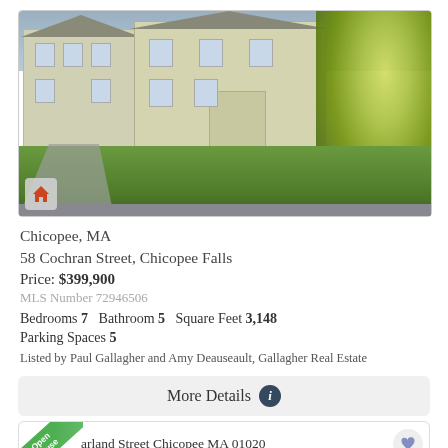[Figure (photo): Exterior photo of a multi-family residential property at 58 Cochran Street, Chicopee Falls, MA. Shows a light yellow/beige multi-story house with front porch and steps, green lawn, concrete walkway, neighboring white house to the left, and dense green foliage on the right.]
Chicopee, MA
58 Cochran Street, Chicopee Falls
Price: $399,900
MLS Number 72946506
Bedrooms 7   Bathroom 5   Square Feet 3,148
Parking Spaces 5
Listed by Paul Gallagher and Amy Deauseault, Gallagher Real Estate
More Details
arland Street Chicopee MA 01020